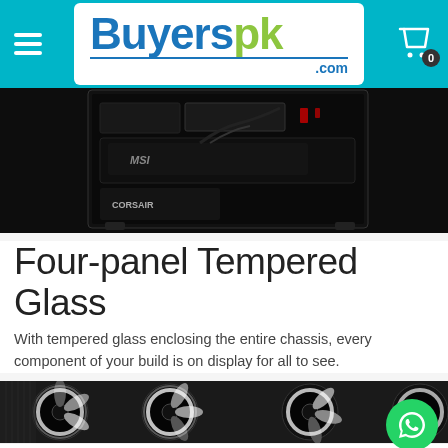Buyerspk.com
[Figure (photo): PC computer case with tempered glass showing internal components including MSI graphics card and Corsair branding, dark background]
Four-panel Tempered Glass
With tempered glass enclosing the entire chassis, every component of your build is on display for all to see.
[Figure (photo): Close-up of white RGB fans]
Add to cart